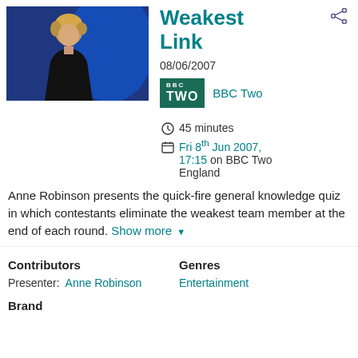[Figure (photo): Photo of a woman with short blonde hair dressed in black, standing in front of a blue background — Anne Robinson]
Weakest Link
08/06/2007
[Figure (logo): BBC TWO logo — dark teal background with white text]
BBC Two
45 minutes
Fri 8th Jun 2007, 17:15 on BBC Two England
Anne Robinson presents the quick-fire general knowledge quiz in which contestants eliminate the weakest team member at the end of each round. Show more
Contributors
Genres
Presenter: Anne Robinson
Entertainment
Brand